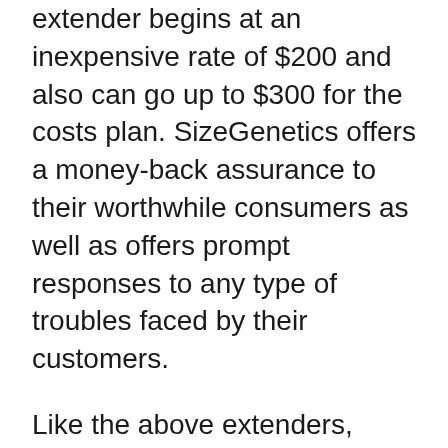extender begins at an inexpensive rate of $200 and also can go up to $300 for the costs plan. SizeGenetics offers a money-back assurance to their worthwhile consumers as well as offers prompt responses to any type of troubles faced by their customers.
Like the above extenders, SizeGenetics have a considerable number of endorsements, providing you a quote of its success rate. With live conversation support, SizeGenetics sees to it all your questions are answered at a look.
Penis extenders have opened brand-new gates in the field of clinical science. They comply with the traction technique that implies the typical physical procedure of